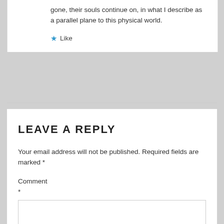gone, their souls continue on, in what I describe as a parallel plane to this physical world.
★ Like
LEAVE A REPLY
Your email address will not be published. Required fields are marked *
Comment *